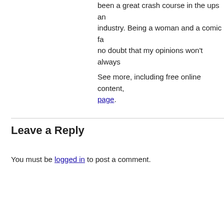been a great crash course in the ups and downs of the industry. Being a woman and a comic fan, there's no doubt that my opinions won't always
See more, including free online content, page.
Leave a Reply
You must be logged in to post a comment.